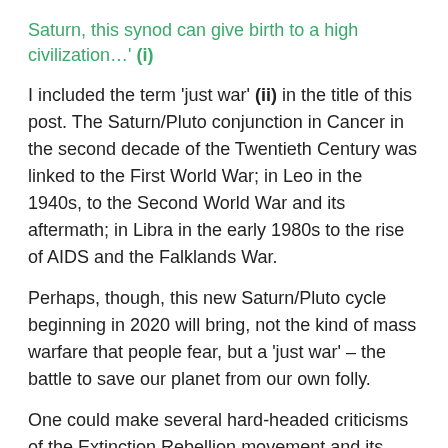Saturn, this synod can give birth to a high civilization…' (i)
I included the term 'just war' (ii) in the title of this post. The Saturn/Pluto conjunction in Cancer in the second decade of the Twentieth Century was linked to the First World War; in Leo in the 1940s, to the Second World War and its aftermath; in Libra in the early 1980s to the rise of AIDS and the Falklands War.
Perhaps, though, this new Saturn/Pluto cycle beginning in 2020 will bring, not the kind of mass warfare that people fear, but a 'just war' – the battle to save our planet from our own folly.
One could make several hard-headed criticisms of the Extinction Rebellion movement and its youthful leaders and protagonists, eg how on earth do we turn our